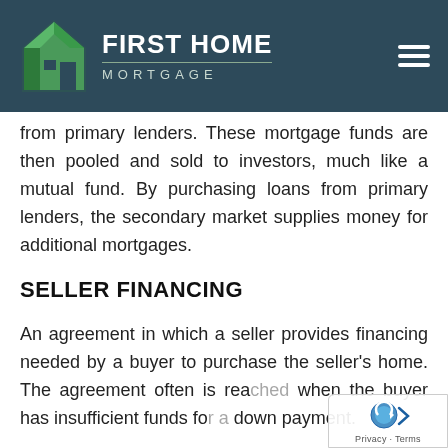[Figure (logo): First Home Mortgage logo with house icon and company name in dark teal header with hamburger menu icon]
from primary lenders. These mortgage funds are then pooled and sold to investors, much like a mutual fund. By purchasing loans from primary lenders, the secondary market supplies money for additional mortgages.
SELLER FINANCING
An agreement in which a seller provides financing needed by a buyer to purchase the seller's home. The agreement often is reached when the buyer has insufficient funds for a down payment.